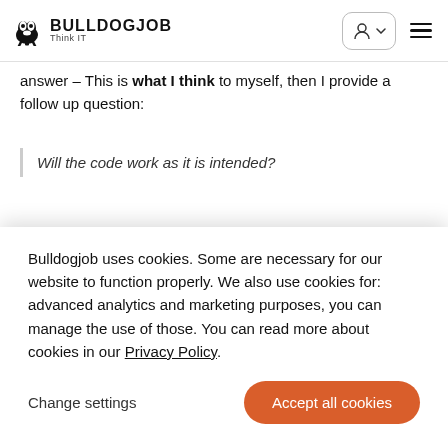BULLDOGJOB Think IT
answer – This is what I think to myself, then I provide a follow up question:
Will the code work as it is intended?
Bulldogjob uses cookies. Some are necessary for our website to function properly. We also use cookies for: advanced analytics and marketing purposes, you can manage the use of those. You can read more about cookies in our Privacy Policy.
Change settings
Accept all cookies